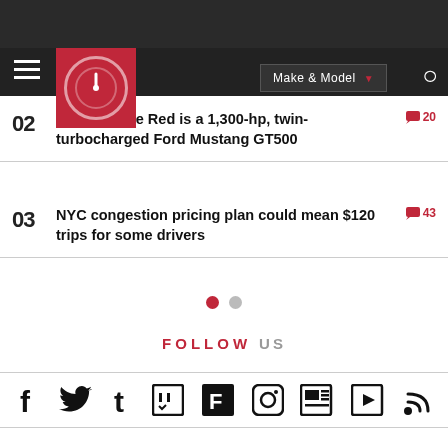Make & Model navigation bar with logo
02 Shelby Code Red is a 1,300-hp, twin-turbocharged Ford Mustang GT500 — 20 comments
03 NYC congestion pricing plan could mean $120 trips for some drivers — 43 comments
FOLLOW US
[Figure (other): Social media icons row: Facebook, Twitter, Tumblr, Twitch, Flipboard, Instagram, News, YouTube, RSS]